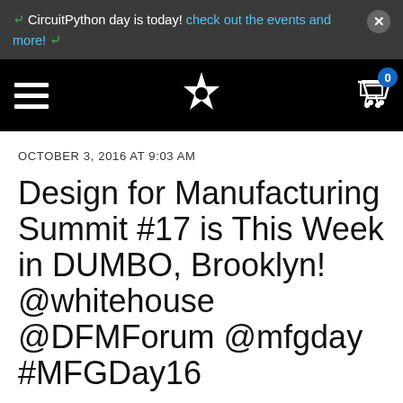CircuitPython day is today! check out the events and more!
[Figure (screenshot): Navigation bar with hamburger menu, flower/star logo, and shopping cart with badge showing 0]
OCTOBER 3, 2016 AT 9:03 AM
Design for Manufacturing Summit #17 is This Week in DUMBO, Brooklyn! @whitehouse @DFMForum @mfgday #MFGDay16
Happening the day before the official nationwide Manufacturing Day for 2016, the Design for Manufacturing (DFM) Summit bills itself as “a business development-focused evening conference